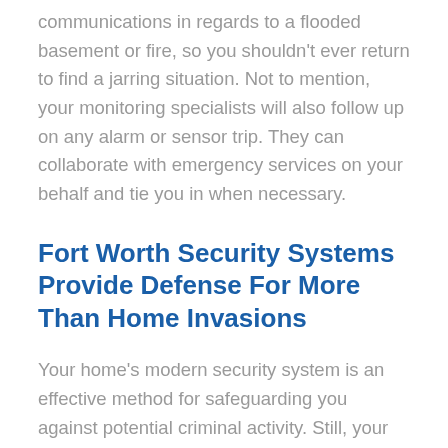communications in regards to a flooded basement or fire, so you shouldn't ever return to find a jarring situation. Not to mention, your monitoring specialists will also follow up on any alarm or sensor trip. They can collaborate with emergency services on your behalf and tie you in when necessary.
Fort Worth Security Systems Provide Defense For More Than Home Invasions
Your home's modern security system is an effective method for safeguarding you against potential criminal activity. Still, your system can integrate with much more than door sensors and